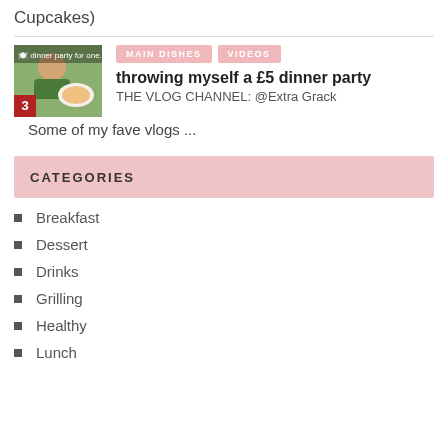Cupcakes)
[Figure (photo): Thumbnail image of a person eating pasta, with number 3 badge in bottom left corner]
throwing myself a £5 dinner party THE VLOG CHANNEL: @Extra Grack Some of my fave vlogs ...
CATEGORIES
Breakfast
Dessert
Drinks
Grilling
Healthy
Lunch